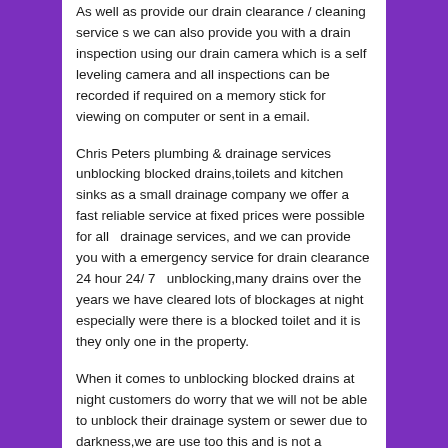As well as provide our drain clearance / cleaning service s we can also provide you with a drain inspection using our drain camera which is a self leveling camera and all inspections can be recorded if required on a memory stick for viewing on computer or sent in a email.
Chris Peters plumbing & drainage services unblocking blocked drains,toilets and kitchen sinks as a small drainage company we offer a fast reliable service at fixed prices were possible for all  drainage services, and we can provide you with a emergency service for drain clearance 24 hour 24/ 7  unblocking,many drains over the years we have cleared lots of blockages at night especially were there is a blocked toilet and it is they only one in the property.
When it comes to unblocking blocked drains at night customers do worry that we will not be able to unblock their drainage system or sewer due to darkness,we are use too this and is not a problem,so please do call even when its dark.